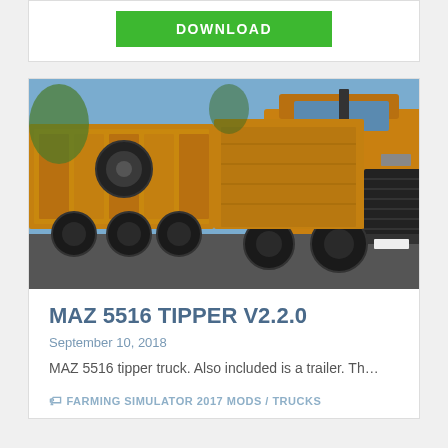DOWNLOAD
[Figure (photo): Yellow MAZ 5516 tipper truck with trailer in a farming simulator game environment. Orange/yellow painted trucks photographed from the front-right angle showing the cab and cargo area.]
MAZ 5516 TIPPER V2.2.0
September 10, 2018
MAZ 5516 tipper truck. Also included is a trailer. Th…
FARMING SIMULATOR 2017 MODS / TRUCKS